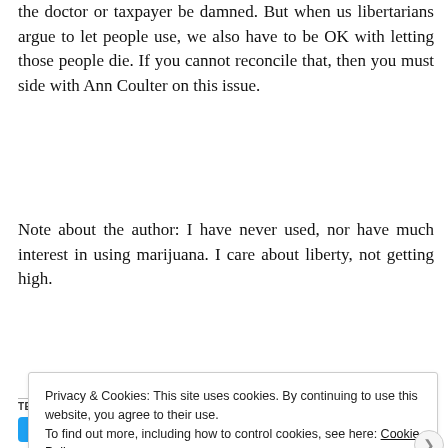the doctor or taxpayer be damned. But when us libertarians argue to let people use, we also have to be OK with letting those people die. If you cannot reconcile that, then you must side with Ann Coulter on this issue.
Note about the author: I have never used, nor have much interest in using marijuana. I care about liberty, not getting high.
TELL PEOPLE HOW AWESOME THIS IS OR SOMETHING:
Tweet  Email  Print  More
Privacy & Cookies: This site uses cookies. By continuing to use this website, you agree to their use.
To find out more, including how to control cookies, see here: Cookie Policy
Close and accept